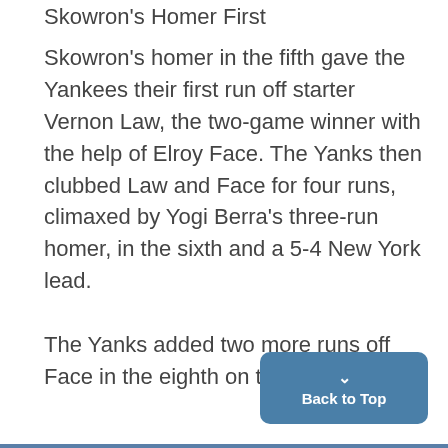Skowron's Homer First
Skowron's homer in the fifth gave the Yankees their first run off starter Vernon Law, the two-game winner with the help of Elroy Face. The Yanks then clubbed Law and Face for four runs, climaxed by Yogi Berra's three-run homer, in the sixth and a 5-4 New York lead.
The Yanks added two more runs off Face in the eighth on three